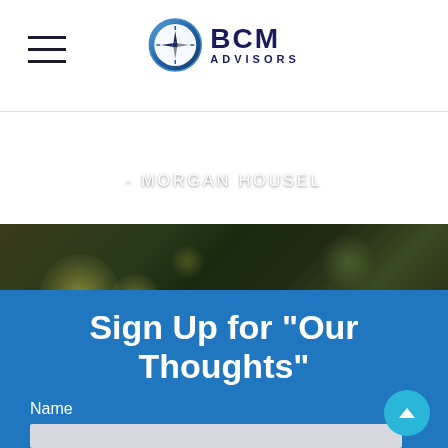BCM ADVISORS
- MORGAN HOUSEL
Sign Up for "Our Thoughts"
Name